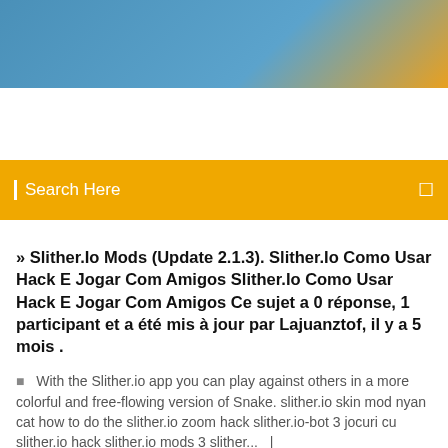[Figure (other): Blue and orange gradient website header banner]
Search Here
» Slither.Io Mods (Update 2.1.3). Slither.Io Como Usar Hack E Jogar Com Amigos Slither.Io Como Usar Hack E Jogar Com Amigos Ce sujet a 0 réponse, 1 participant et a été mis à jour par Lajuanztof, il y a 5 mois .
With the Slither.io app you can play against others in a more colorful and free-flowing version of Snake. slither.io skin mod nyan cat how to do the slither.io zoom hack slither.io-bot 3 jocuri cu slither.io hack slither.io mods 3 slither...   |
1 Comments